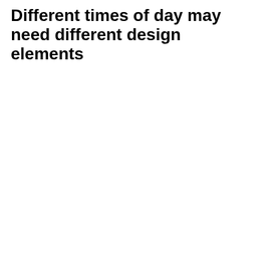Different times of day may need different design elements